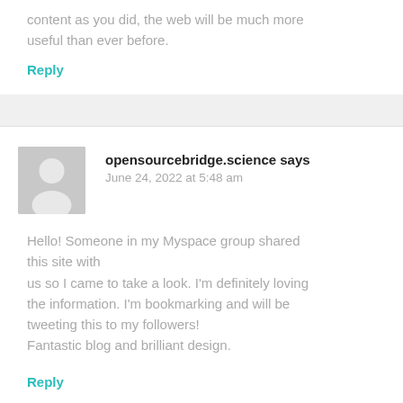content as you did, the web will be much more useful than ever before.
Reply
opensourcebridge.science says
June 24, 2022 at 5:48 am
Hello! Someone in my Myspace group shared this site with us so I came to take a look. I'm definitely loving the information. I'm bookmarking and will be tweeting this to my followers! Fantastic blog and brilliant design.
Reply